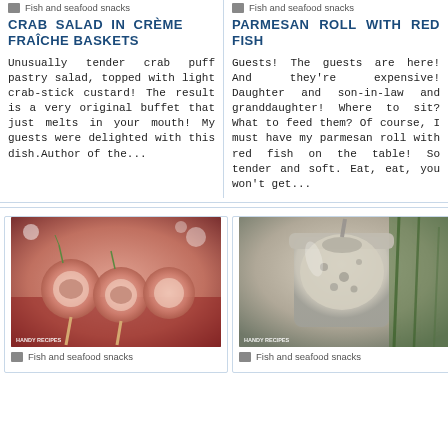Fish and seafood snacks
Fish and seafood snacks
CRAB SALAD IN CRÈME FRAÎCHE BASKETS
PARMESAN ROLL WITH RED FISH
Unusually tender crab puff pastry salad, topped with light crab-stick custard! The result is a very original buffet that just melts in your mouth! My guests were delighted with this dish.Author of the...
Guests! The guests are here! And they're expensive! Daughter and son-in-law and granddaughter! Where to sit? What to feed them? Of course, I must have my parmesan roll with red fish on the table! So tender and soft. Eat, eat, you won't get...
[Figure (photo): Salmon rolls on sticks with cream cheese and herbs, garnished with rosemary, on a festive background with a HANDY RECIPES watermark]
[Figure (photo): A glass jar filled with a creamy mushroom or fish spread/sauce, with herbs in the background and a HANDY RECIPES watermark]
Fish and seafood snacks
Fish and seafood snacks